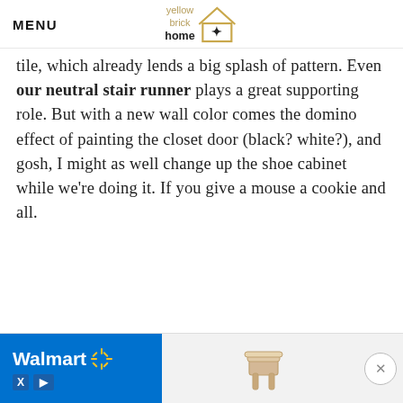MENU | yellow brick home (logo)
tile, which already lends a big splash of pattern. Even our neutral stair runner plays a great supporting role. But with a new wall color comes the domino effect of painting the closet door (black? white?), and gosh, I might as well change up the shoe cabinet while we’re doing it. If you give a mouse a cookie and all.
[Figure (other): Walmart advertisement banner with Walmart logo, spark icon, and a chair product image]